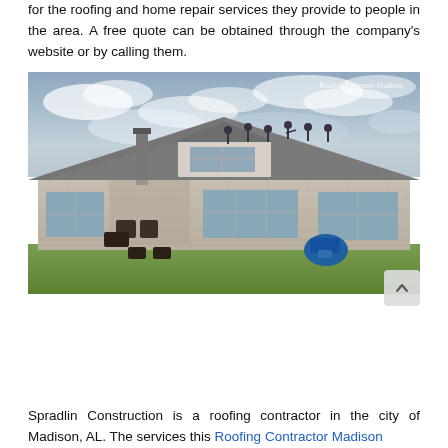for the roofing and home repair services they provide to people in the area. A free quote can be obtained through the company's website or by calling them.
[Figure (photo): Workers on the roof of a brick house performing roofing work. Several workers are visible on the roof working near a dormer. A blue piece of equipment sits on the lawn below. Overcast sky in the background. Watermark reads 'Roofing Company Madison'.]
Spradlin Construction is a roofing contractor in the city of Madison, AL. The services this Roofing Contractor Madison